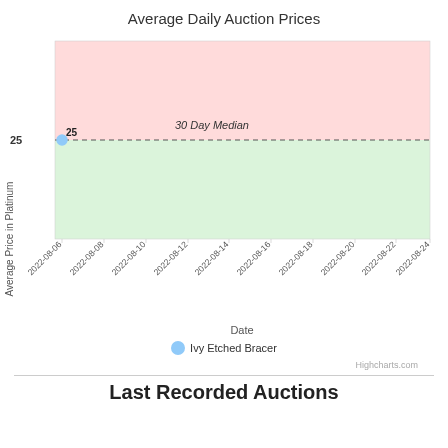Average Daily Auction Prices
[Figure (area-chart): Area chart showing average daily auction prices for Ivy Etched Bracer from 2022-08-06 to 2022-08-24. There is a single data point at 25 platinum. The area above the 30-day median (25) is shaded red/pink, and below is shaded green. A dashed line marks the 30 Day Median at 25.]
Ivy Etched Bracer
Highcharts.com
Last Recorded Auctions